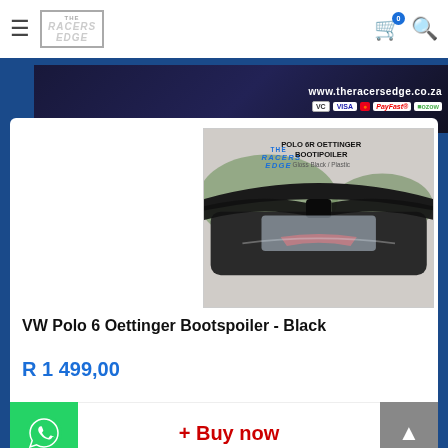The Racers Edge - Navigation header with cart and search
[Figure (screenshot): Website banner showing www.theracersedge.co.za with payment icons: VC, VISA, Mastercard, PayFast, Ozow]
[Figure (photo): VW Polo 6 Oettinger Bootspoiler - Black glossy plastic boot spoiler shown on car]
VW Polo 6 Oettinger Bootspoiler - Black
R 1 499,00
+ Buy now